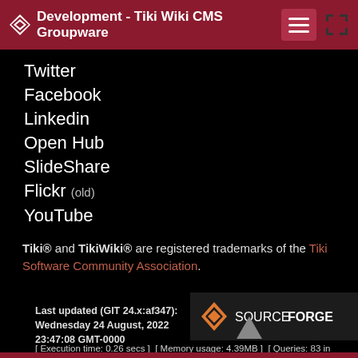Development - Tiki Wiki CMS Groupware
Twitter
Facebook
Linkedin
Open Hub
SlideShare
Flickr (old)
YouTube
Tiki® and TikiWiki® are registered trademarks of the Tiki Software Community Association.
[Figure (logo): SourceForge logo badge with orange diamond icon and SOURCEFORGE text]
Last updated (GIT 24.x:af347): Wednesday 24 August, 2022 23:47:08 GMT-0000
[ Execution time: 0.26 secs ]  [ Memory usage: 4.39MB ]  [ Queries: 83 in 0.06 secs ]